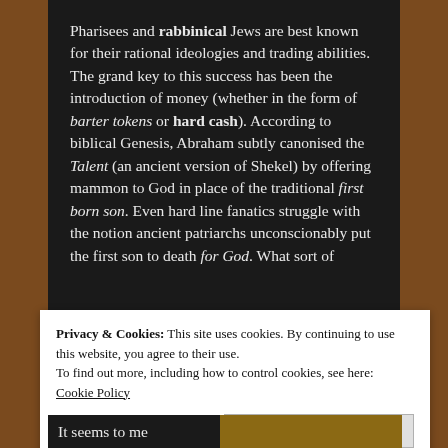Pharisees and rabbinical Jews are best known for their rational ideologies and trading abilities. The grand key to this success has been the introduction of money (whether in the form of barter tokens or hard cash). According to biblical Genesis, Abraham subtly canonised the Talent (an ancient version of Shekel) by offering mammon to God in place of the traditional first born son. Even hard line fanatics struggle with the notion ancient patriarchs unconscionably put the first son to death for God. What sort of
Privacy & Cookies: This site uses cookies. By continuing to use this website, you agree to their use.
To find out more, including how to control cookies, see here:
Cookie Policy
Close and accept
It seems to me